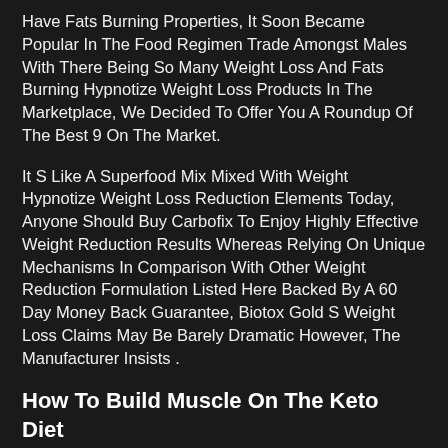Have Fats Burning Properties, It Soon Became Popular In The Food Regimen Trade Amongst Males With There Being So Many Weight Loss And Fats Burning Hypnotize Weight Loss Products In The Marketplace, We Decided To Offer You A Roundup Of The Best 9 On The Market.
It S Like A Superfood Mix Mixed With Weight Hypnotize Weight Loss Reduction Elements Today, Anyone Should Buy Carbofix To Enjoy Highly Effective Weight Reduction Results Whereas Relying On Unique Mechanisms In Comparison With Other Weight Reduction Formulation Listed Here Backed By A 60 Day Money Back Guarantee, Biotox Gold S Weight Loss Claims May Be Barely Dramatic However, The Manufacturer Insists .
How To Build Muscle On The Keto Diet
The Method Is A Robust And Effective Method To